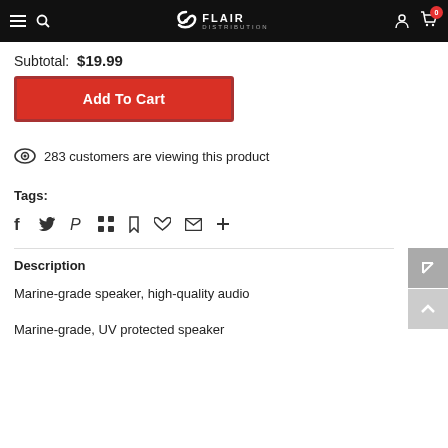Flair Distribution — navigation bar with hamburger menu, search, logo, account, and cart icons
Subtotal: $19.99
Add To Cart
283 customers are viewing this product
Tags:
Social share icons: Facebook, Twitter, Pinterest, Grid, Bookmark, Heart, Email, Plus
Description
Marine-grade speaker, high-quality audio
Marine-grade, UV protected speaker